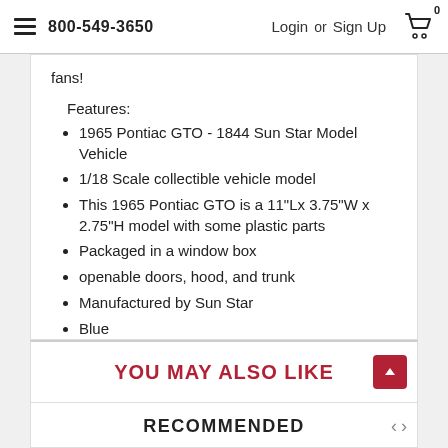800-549-3650  Login or Sign Up
fans!
Features:
1965 Pontiac GTO - 1844 Sun Star Model Vehicle
1/18 Scale collectible vehicle model
This 1965 Pontiac GTO is a 11"Lx 3.75"W x 2.75"H model with some plastic parts
Packaged in a window box
openable doors, hood, and trunk
Manufactured by Sun Star
Blue
YOU MAY ALSO LIKE
RECOMMENDED